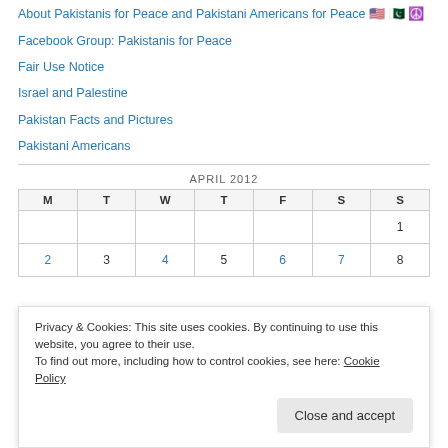About Pakistanis for Peace and Pakistani Americans for Peace 🇺🇸 🇵🇰 ☮️
Facebook Group: Pakistanis for Peace
Fair Use Notice
Israel and Palestine
Pakistan Facts and Pictures
Pakistani Americans
| M | T | W | T | F | S | S |
| --- | --- | --- | --- | --- | --- | --- |
|  |  |  |  |  |  | 1 |
| 2 | 3 | 4 | 5 | 6 | 7 | 8 |
Privacy & Cookies: This site uses cookies. By continuing to use this website, you agree to their use. To find out more, including how to control cookies, see here: Cookie Policy